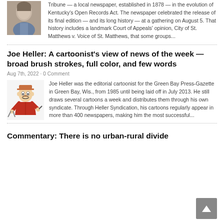[Figure (photo): Small portrait photo of a person, partially cropped at top]
Tribune — a local newspaper, established in 1878 — in the evolution of Kentucky's Open Records Act. The newspaper celebrated the release of its final edition — and its long history — at a gathering on August 5. That history includes a landmark Court of Appeals' opinion, City of St. Matthews v. Voice of St. Matthews, that some groups...
Joe Heller: A cartoonist's view of news of the week — broad brush strokes, full color, and few words
Aug 7th, 2022 · 0 Comment
[Figure (illustration): Cartoon illustration of a caricature character holding tools/brushes, representing cartoonist Joe Heller]
Joe Heller was the editorial cartoonist for the Green Bay Press-Gazette in Green Bay, Wis., from 1985 until being laid off in July 2013. He still draws several cartoons a week and distributes them through his own syndicate. Through Heller Syndication, his cartoons regularly appear in more than 400 newspapers, making him the most successful...
Commentary: There is no urban-rural divide